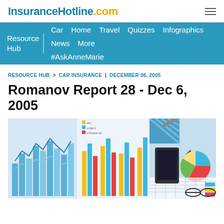InsuranceHotline.com
Resource Hub | Car | Home | Travel | Quizzes | Infographics | News | More | #AskAnneMarie
RESOURCE HUB > CAR INSURANCE | DECEMBER 06, 2005
Romanov Report 28 - Dec 6, 2005
[Figure (photo): Collage of financial charts, bar graphs, pie charts, a smartphone and glasses on a desk with printed data reports.]